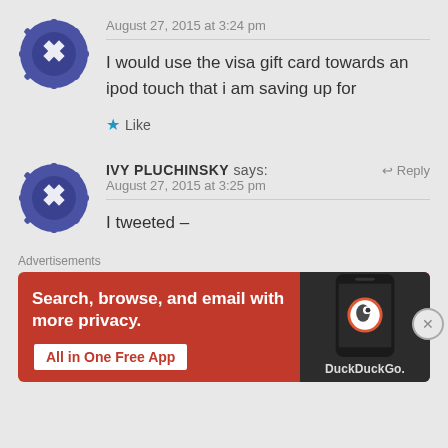August 27, 2015 at 3:24 pm
I would use the visa gift card towards an ipod touch that i am saving up for
Like
IVY PLUCHINSKY says: August 27, 2015 at 3:25 pm
I tweeted –
Advertisements
[Figure (infographic): DuckDuckGo advertisement banner with orange background. Text: Search, browse, and email with more privacy. All in One Free App. Shows a phone with DuckDuckGo logo.]